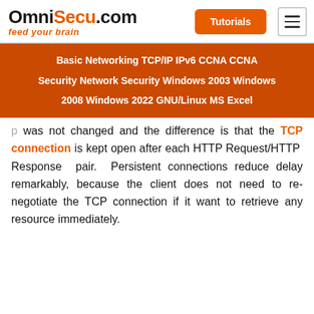OmniSecu.com - feed your brain
Basic Networking  TCP/IP  IPv6  CCNA  CCNA Security  Network Security  Windows 2003  Windows 2008  Windows 2022  GNU/Linux  MS Excel
was not changed and the difference is that the TCP connection is kept open after each HTTP Request/HTTP Response pair. Persistent connections reduce delay remarkably, because the client does not need to re-negotiate the TCP connection if it want to retrieve any resource immediately.